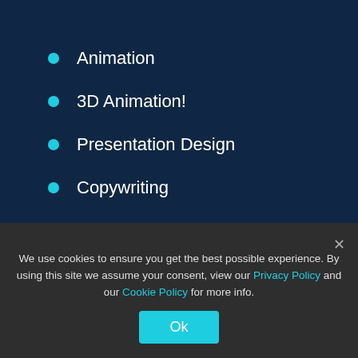Animation
3D Animation!
Presentation Design
Copywriting
Digital Business Cards
Electronic Newsletter
Adverts TV
Internet Marketing
We use cookies to ensure you get the best possible experience. By using this site we assume your consent, view our Privacy Policy and our Cookie Policy for more info.